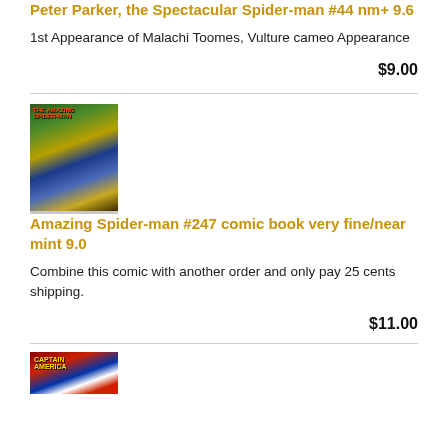Peter Parker, the Spectacular Spider-man #44 nm+ 9.6
1st Appearance of Malachi Toomes, Vulture cameo Appearance
$9.00
[Figure (photo): Comic book cover of Amazing Spider-man #247 showing a blue figure against a crowd of characters]
Amazing Spider-man #247 comic book very fine/near mint 9.0
Combine this comic with another order and only pay 25 cents shipping.
$11.00
[Figure (photo): Partial view of a Captain America comic book cover]